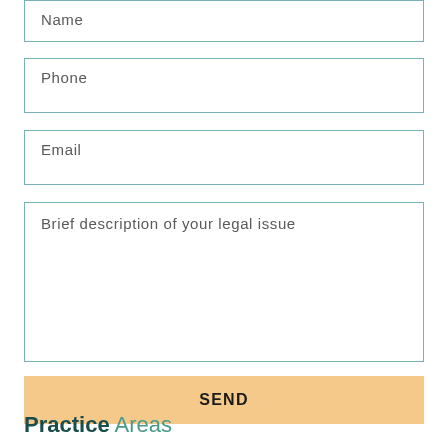Name
Phone
Email
Brief description of your legal issue
SEND
Practice Areas